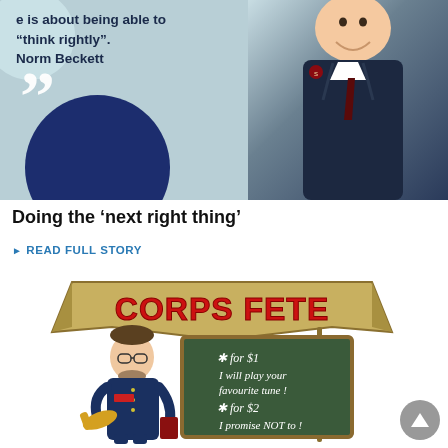[Figure (illustration): Top section with a teal/light blue background showing a quote 'e is about being able to "think rightly". Norm Beckett' with large quotation marks and a dark navy circle, alongside a photo of a man in a dark Salvation Army uniform smiling.]
Doing the 'next right thing'
READ FULL STORY
[Figure (illustration): Cartoon illustration of a Corps Fete banner with red graffiti-style lettering, and a cartoon man in a blue Salvation Army uniform holding a trumpet next to a chalkboard that reads: *for $1 I will play your favourite tune! *for $2 I promise NOT to!]